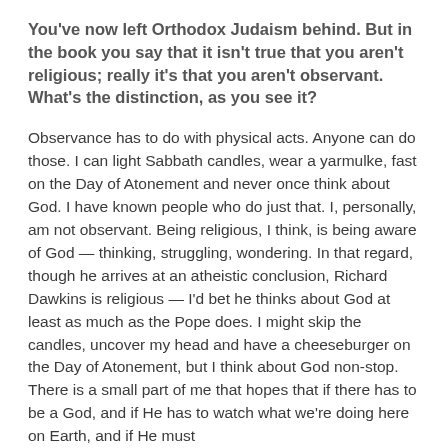You've now left Orthodox Judaism behind. But in the book you say that it isn't true that you aren't religious; really it's that you aren't observant. What's the distinction, as you see it?
Observance has to do with physical acts. Anyone can do those. I can light Sabbath candles, wear a yarmulke, fast on the Day of Atonement and never once think about God. I have known people who do just that. I, personally, am not observant. Being religious, I think, is being aware of God — thinking, struggling, wondering. In that regard, though he arrives at an atheistic conclusion, Richard Dawkins is religious — I'd bet he thinks about God at least as much as the Pope does. I might skip the candles, uncover my head and have a cheeseburger on the Day of Atonement, but I think about God non-stop. There is a small part of me that hopes that if there has to be a God, and if He has to watch what we're doing here on Earth, and if He must